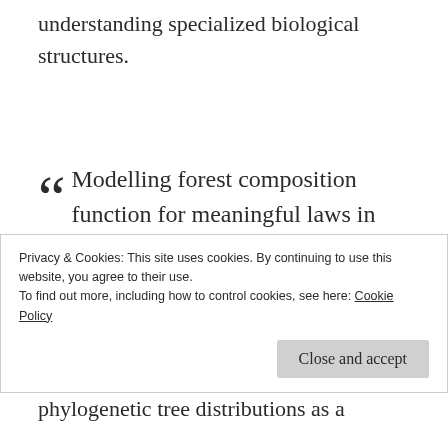understanding specialized biological structures.
Modelling forest composition function for meaningful laws in cortical networks, in the light of simplifying assumption of interaction networks with the same importance they exploit
Privacy & Cookies: This site uses cookies. By continuing to use this website, you agree to their use. To find out more, including how to control cookies, see here: Cookie Policy
phylogenetic tree distributions as a